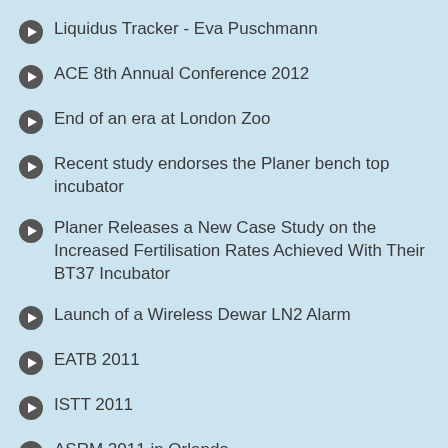Liquidus Tracker - Eva Puschmann
ACE 8th Annual Conference 2012
End of an era at London Zoo
Recent study endorses the Planer bench top incubator
Planer Releases a New Case Study on the Increased Fertilisation Rates Achieved With Their BT37 Incubator
Launch of a Wireless Dewar LN2 Alarm
EATB 2011
ISTT 2011
ASRM 2011 in Orlando
Frozen embryo twins born from frozen stored